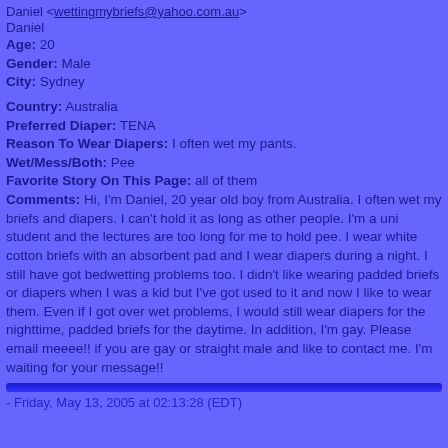Daniel <wettingmybriefs@yahoo.com.au>
Daniel
Age: 20
Gender: Male
City: Sydney
Country: Australia
Preferred Diaper: TENA
Reason To Wear Diapers: I often wet my pants.
Wet/Mess/Both: Pee
Favorite Story On This Page: all of them
Comments: Hi, I'm Daniel, 20 year old boy from Australia. I often wet my briefs and diapers. I can't hold it as long as other people. I'm a uni student and the lectures are too long for me to hold pee. I wear white cotton briefs with an absorbent pad and I wear diapers during a night. I still have got bedwetting problems too. I didn't like wearing padded briefs or diapers when I was a kid but I've got used to it and now I like to wear them. Even if I got over wet problems, I would still wear diapers for the nighttime, padded briefs for the daytime. In addition, I'm gay. Please email meeee!! if you are gay or straight male and like to contact me. I'm waiting for your message!!
- Friday, May 13, 2005 at 02:13:28 (EDT)